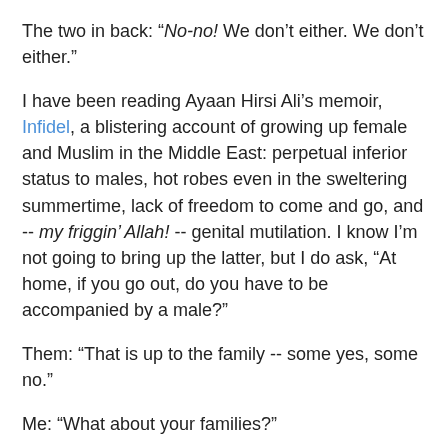The two in back: “No-no! We don’t either. We don’t either.”
I have been reading Ayaan Hirsi Ali’s memoir, Infidel, a blistering account of growing up female and Muslim in the Middle East: perpetual inferior status to males, hot robes even in the sweltering summertime, lack of freedom to come and go, and -- my friggin’ Allah! -- genital mutilation. I know I’m not going to bring up the latter, but I do ask, “At home, if you go out, do you have to be accompanied by a male?”
Them: “That is up to the family -- some yes, some no.”
Me: “What about your families?”
A chorus: “Usually no…” And then Behindme delivers a trump card so perfect that it breaks down all four of us: “We came to America...by ourselves!” She is sixteen years old, shrieking hysterically in the back seat of a taxicab five thousand miles from her parents’ home. It’s crazy-sick.
We’re still recovering when the Asian man returns with the printouts -- and the deal goes down.